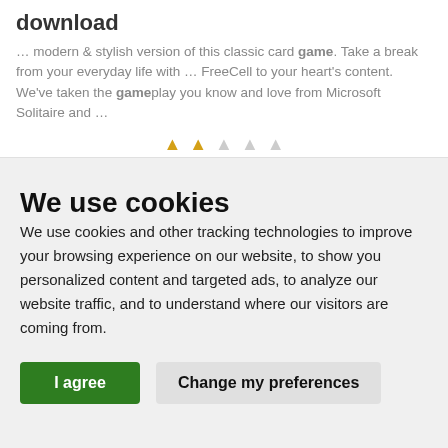download
… modern & stylish version of this classic card game. Take a break from your everyday life with … FreeCell to your heart's content. We've taken the gameplay you know and love from Microsoft Solitaire and …
We use cookies
We use cookies and other tracking technologies to improve your browsing experience on our website, to show you personalized content and targeted ads, to analyze our website traffic, and to understand where our visitors are coming from.
I agree | Change my preferences